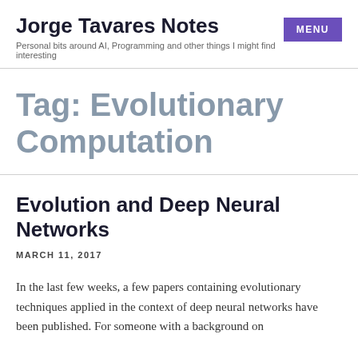Jorge Tavares Notes
Personal bits around AI, Programming and other things I might find interesting
Tag: Evolutionary Computation
Evolution and Deep Neural Networks
MARCH 11, 2017
In the last few weeks, a few papers containing evolutionary techniques applied in the context of deep neural networks have been published. For someone with a background on